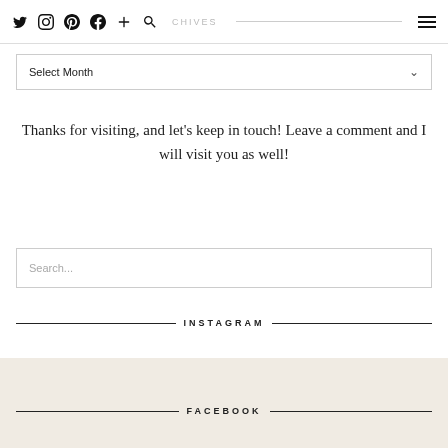Twitter Instagram Pinterest Facebook + Search ARCHIVES ☰
Select Month
Thanks for visiting, and let's keep in touch! Leave a comment and I will visit you as well!
Search...
INSTAGRAM
FACEBOOK